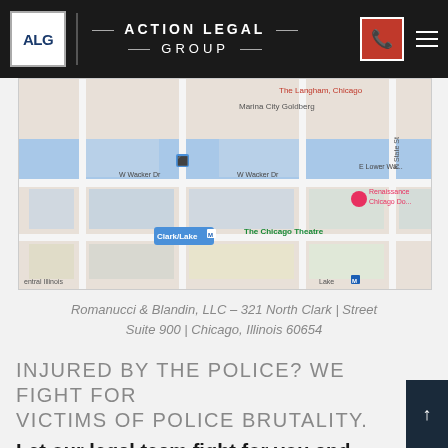[Figure (logo): Action Legal Group logo with ALG initials in dark blue on white background, next to firm name text in white on dark header]
[Figure (map): Google Maps screenshot showing Chicago downtown area near W Wacker Dr, Clark/Lake M station, The Chicago Theatre, Renaissance Chicago Downtown hotel, Marina City Goldberg]
Romanucci & Blandin, LLC – 321 North Clark | Street Suite 900 | Chicago, Illinois 60654
INJURED BY THE POLICE? WE FIGHT FOR VICTIMS OF POLICE BRUTALITY.
Let our legal team fight for you and your family.